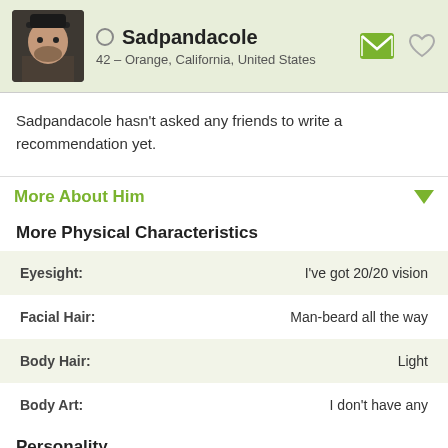Sadpandacole – 42 – Orange, California, United States
Sadpandacole hasn't asked any friends to write a recommendation yet.
More About Him
More Physical Characteristics
| Characteristic | Value |
| --- | --- |
| Eyesight: | I've got 20/20 vision |
| Facial Hair: | Man-beard all the way |
| Body Hair: | Light |
| Body Art: | I don't have any |
Personality